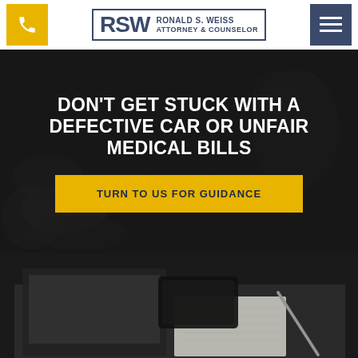[Figure (logo): RSW Ronald S. Weiss Attorney & Counselor logo with phone button and hamburger menu]
[Figure (photo): Dark background with Lady Justice statue silhouette and chains, hero banner with white bold text and yellow CTA button]
DON'T GET STUCK WITH A DEFECTIVE CAR OR UNFAIR MEDICAL BILLS
TURN TO US FOR GUIDANCE
[Figure (photo): Photo of a desk with laptop, notebook, and pen on dark background]